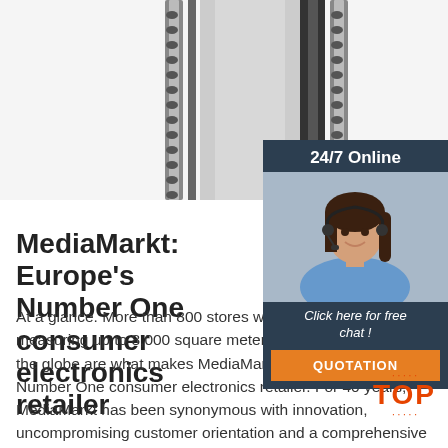[Figure (photo): Top portion showing chains and what appears to be chain-link or metallic decorative elements against a light background, partially overlapping with a customer service widget]
[Figure (infographic): 24/7 Online customer service widget with photo of female customer service representative wearing headset, 'Click here for free chat!' text, and orange QUOTATION button]
MediaMarkt: Europe's Number One consumer electronics retailer
At a glance. More than 800 stores with sales areas measuring up to 8,000 square meters in 13 countries around the globe are what makes MediaMarkt Europe's undisputed Number One consumer electronics retailer. For 40 years, MediaMarkt has been synonymous with innovation, uncompromising customer orientation and a comprehensive range of customer ...